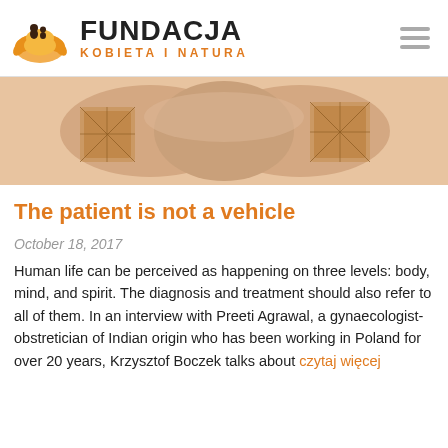FUNDACJA KOBIETA I NATURA
[Figure (photo): Close-up photo of a person's hands with henna/mehndi patterns on the wrists, warm skin tones]
The patient is not a vehicle
October 18, 2017
Human life can be perceived as happening on three levels: body, mind, and spirit. The diagnosis and treatment should also refer to all of them. In an interview with Preeti Agrawal, a gynaecologist-obstretician of Indian origin who has been working in Poland for over 20 years, Krzysztof Boczek talks about czytaj więcej